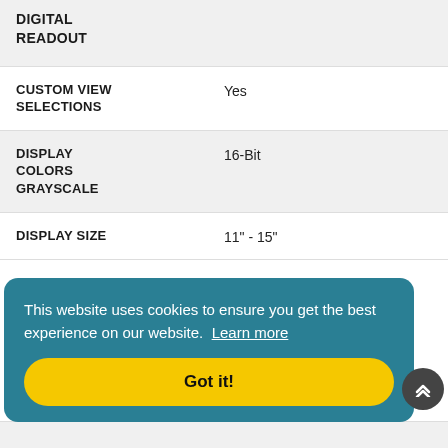| Feature | Value |
| --- | --- |
| DIGITAL READOUT |  |
| CUSTOM VIEW SELECTIONS | Yes |
| DISPLAY COLORS GRAYSCALE | 16-Bit |
| DISPLAY SIZE | 11" - 15" |
This website uses cookies to ensure you get the best experience on our website. Learn more
Got it!